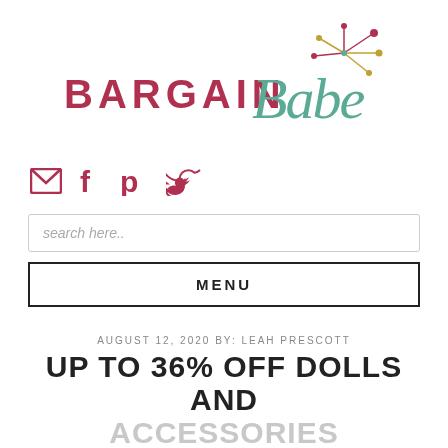[Figure (logo): Bargain Babe logo with 'BARGAIN' in dark red uppercase and 'Babe' in teal cursive script with decorative starburst]
[Figure (infographic): Social media icons: email envelope, Facebook f, Pinterest p, Twitter bird — all in dark red/crimson color]
search here..
MENU
AUGUST 12, 2020 BY: LEAH PRESCOTT
UP TO 36% OFF DOLLS AND ACCESSORIES